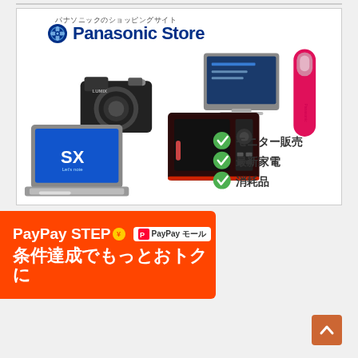[Figure (illustration): Panasonic Store promotional banner showing cameras, laptop, microwave oven, tablet, and beauty device with checklist items: モニター販売, 最新家電, 消耗品]
[Figure (illustration): PayPay STEP campaign banner with PayPayモール badge and text 条件達成でもっとおトクに on orange/red background]